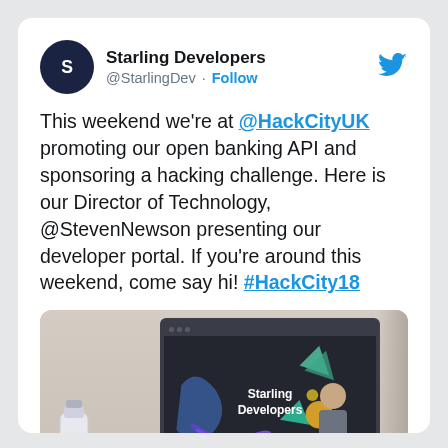Starling Developers @StarlingDev · Follow
This weekend we're at @HackCityUK promoting our open banking API and sponsoring a hacking challenge. Here is our Director of Technology, @StevenNewson presenting our developer portal. If you're around this weekend, come say hi! #HackCity18
[Figure (photo): A photo showing a presentation screen displaying 'Starling Developers' with decorative shapes. A person stands to the right of the screen, and product bottles are visible on the left.]